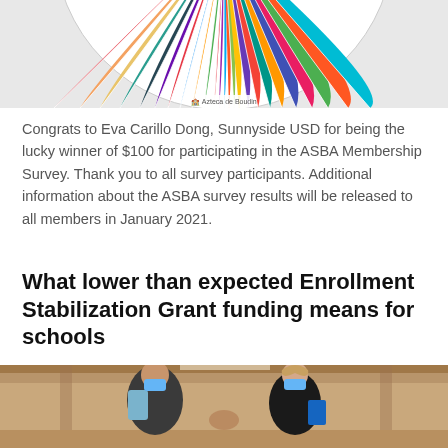[Figure (photo): Top portion of a colorful spinning wheel prize wheel with rainbow colored sections, partially cropped at top of page]
Congrats to Eva Carillo Dong, Sunnyside USD for being the lucky winner of $100 for participating in the ASBA Membership Survey. Thank you to all survey participants. Additional information about the ASBA survey results will be released to all members in January 2021.
What lower than expected Enrollment Stabilization Grant funding means for schools
[Figure (photo): Two students wearing blue face masks doing an elbow bump greeting, one with a backpack, photographed indoors under a covered walkway]